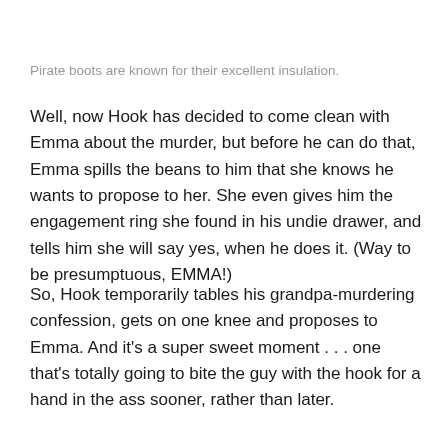Pirate boots are known for their excellent insulation.
Well, now Hook has decided to come clean with Emma about the murder, but before he can do that, Emma spills the beans to him that she knows he wants to propose to her. She even gives him the engagement ring she found in his undie drawer, and tells him she will say yes, when he does it. (Way to be presumptuous, EMMA!)
So, Hook temporarily tables his grandpa-murdering confession, gets on one knee and proposes to Emma. And it's a super sweet moment . . . one that's totally going to bite the guy with the hook for a hand in the ass sooner, rather than later.